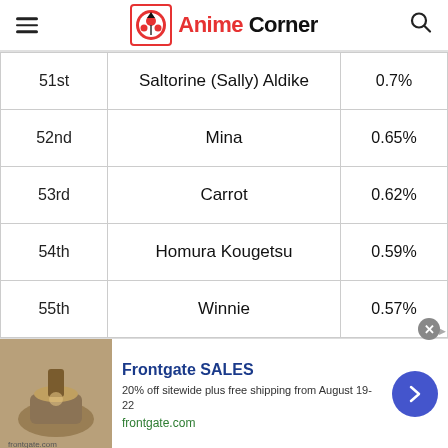Anime Corner
| Rank | Character | Percentage |
| --- | --- | --- |
| 51st | Saltorine (Sally) Aldike | 0.7% |
| 52nd | Mina | 0.65% |
| 53rd | Carrot | 0.62% |
| 54th | Homura Kougetsu | 0.59% |
| 55th | Winnie | 0.57% |
| 56th | Shindou Iu | 0.55% |